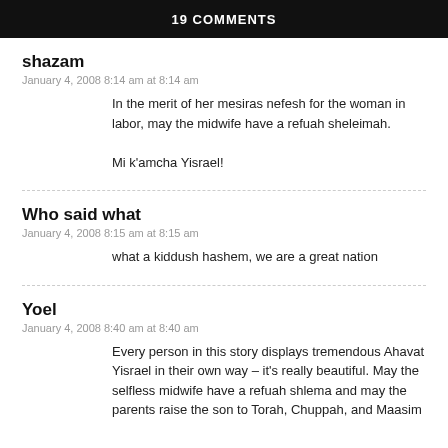19 COMMENTS
shazam
January 4, 2008 8:14 am at 8:14 am
In the merit of her mesiras nefesh for the woman in labor, may the midwife have a refuah sheleimah.

Mi k'amcha Yisrael!
Who said what
January 4, 2008 8:15 am at 8:15 am
what a kiddush hashem, we are a great nation
Yoel
January 4, 2008 8:40 am at 8:40 am
Every person in this story displays tremendous Ahavat Yisrael in their own way – it's really beautiful. May the selfless midwife have a refuah shlema and may the parents raise the son to Torah, Chuppah, and Maasim...